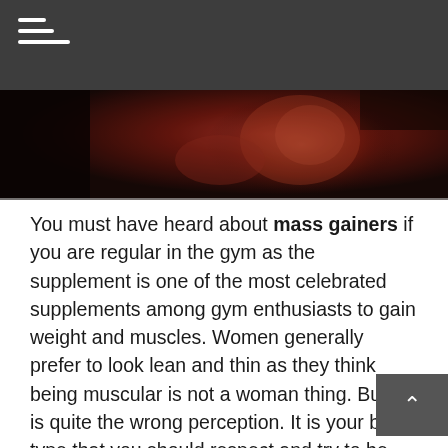Navigation menu (hamburger icon) on dark grey header bar
[Figure (photo): A muscular person in red lighting, showing their torso and muscles, dark dramatic background]
You must have heard about mass gainers if you are regular in the gym as the supplement is one of the most celebrated supplements among gym enthusiasts to gain weight and muscles. Women generally prefer to look lean and thin as they think being muscular is not a woman thing. But it is quite the wrong perception. It is your body type that you should respect and try to be your best version. If a mass gainer does any help, you never miss taking advantage of it. Falling in the bandwagon of looking slim for every photoshoot, many women have suffered their body a lot. That is one of the reasons why women don't go for the supplement besides having an attractive mass gainers price. Here